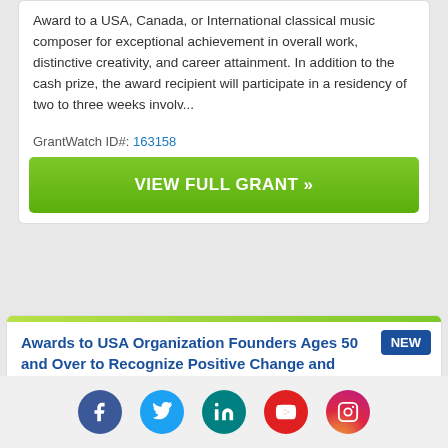Award to a USA, Canada, or International classical music composer for exceptional achievement in overall work, distinctive creativity, and career attainment. In addition to the cash prize, the award recipient will participate in a residency of two to three weeks involv...
GrantWatch ID#: 163158
VIEW FULL GRANT »
Awards to USA Organization Founders Ages 50 and Over to Recognize Positive Change and Signifi...
Deadline 02/28/23
Awards of $10,000 and $50,000 to USA individual nonprofit founders ages 50 and older to recognize efforts
Facebook Twitter LinkedIn YouTube Instagram